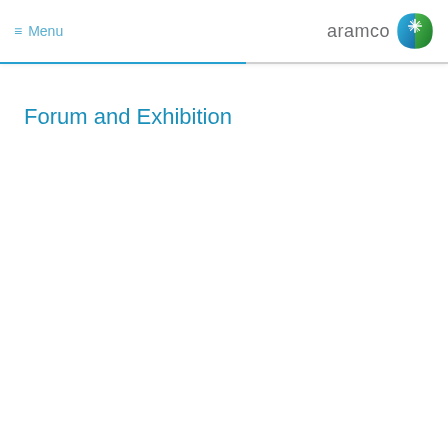≡ Menu | aramco logo
Forum and Exhibition